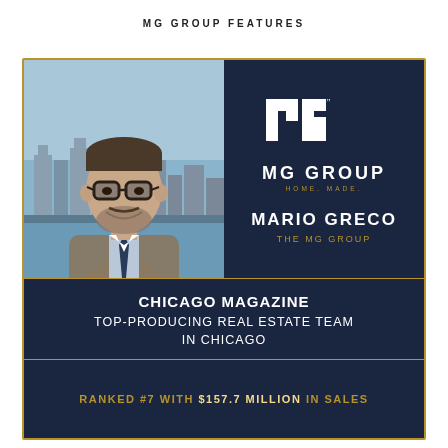MG GROUP FEATURES
[Figure (photo): Professional headshot of Mario Greco, man in suit with glasses, smiling, Chicago skyline background]
[Figure (logo): MG Group logo — white geometric MG monogram icon above text MG GROUP and tagline HOME. MADE.]
MARIO GRECO
THE MG GROUP
CHICAGO MAGAZINE TOP-PRODUCING REAL ESTATE TEAM IN CHICAGO
RANKED #7 WITH $157.7 MILLION IN SALES